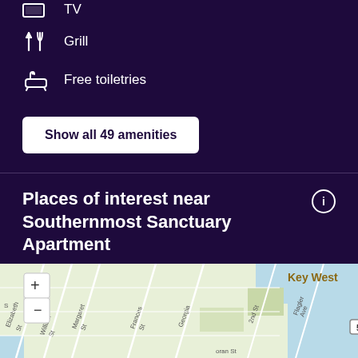TV
Grill
Free toiletries
Show all 49 amenities
Places of interest near Southernmost Sanctuary Apartment
Attractions in Key West, Florida curated by momondo
[Figure (map): Street map of Key West, Florida showing streets including Margaret St, William St, Elizabeth St, Frances St, Georgia, 2nd St, Flagler Ave, with a zoom control (+/-) and label '5A']